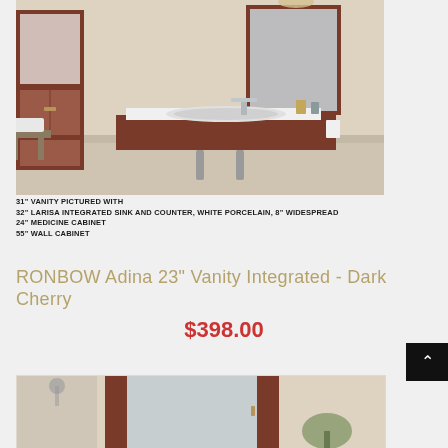[Figure (photo): Bathroom vanity product photo showing a 31-inch vanity with 32-inch Larisa integrated Sink and Counter in White Porcelain, 8-inch Widespread, a 24-inch Medicine Cabinet, and a 55-inch Wall Cabinet, in dark cherry finish, mounted in a beige-tiled bathroom.]
31" Vanity pictured with
32" Larisa integrated Sink And Counter, White Porcelain, 8" Widespread
24" Medicine Cabinet
55" Wall Cabinet
RONBOW Adina 23" Vanity Integrated - Dark Cherry
$398.00
[Figure (photo): Close-up product photo of a dark cherry bathroom vanity with mirror panels, showing the side view in a beige-tiled bathroom with plant decoration.]